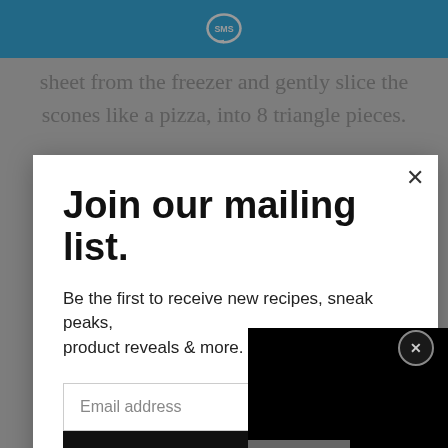[Figure (screenshot): Blue header bar with SMS speech bubble logo centered]
sheet from the freezer and gently slice the scones like a pizza, into 8 triangle pieces.
Join our mailing list.
Be the first to receive new recipes, sneak peaks, product reveals & more.
Email address
Subscribe
CLOSE
| Calories | Fat (grams) | Sat. Fat (grams) |
| --- | --- | --- |
| 356.00 | 16.30 | 10.25 |